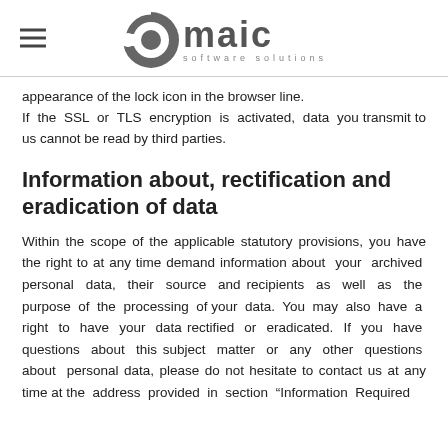dmaic software solutions
appearance of the lock icon in the browser line. If the SSL or TLS encryption is activated, data you transmit to us cannot be read by third parties.
Information about, rectification and eradication of data
Within the scope of the applicable statutory provisions, you have the right to at any time demand information about your archived personal data, their source and recipients as well as the purpose of the processing of your data. You may also have a right to have your data rectified or eradicated. If you have questions about this subject matter or any other questions about personal data, please do not hesitate to contact us at any time at the address provided in section “Information Required